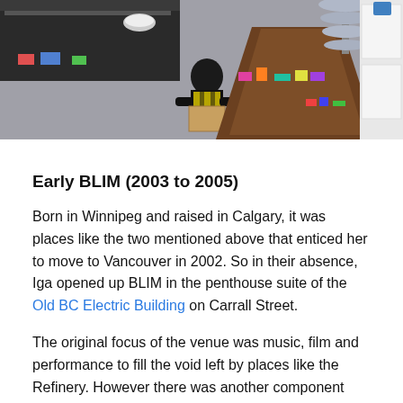[Figure (photo): Overhead view of a store interior with a worker in a yellow vest sorting items at a counter, surrounded by merchandise displays and colorful products on tables.]
Early BLIM (2003 to 2005)
Born in Winnipeg and raised in Calgary, it was places like the two mentioned above that enticed her to move to Vancouver in 2002. So in their absence, Iga opened up BLIM in the penthouse suite of the Old BC Electric Building on Carrall Street.
The original focus of the venue was music, film and performance to fill the void left by places like the Refinery. However there was another component that is still central to Blim today.